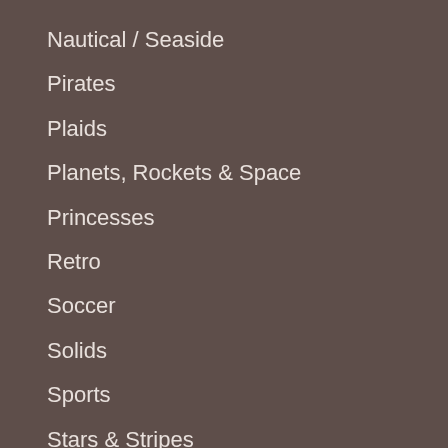Nautical / Seaside
Pirates
Plaids
Planets, Rockets & Space
Princesses
Retro
Soccer
Solids
Sports
Stars & Stripes
Stripes
Surfer, Hawaiian & Tropical
Teddy Bears